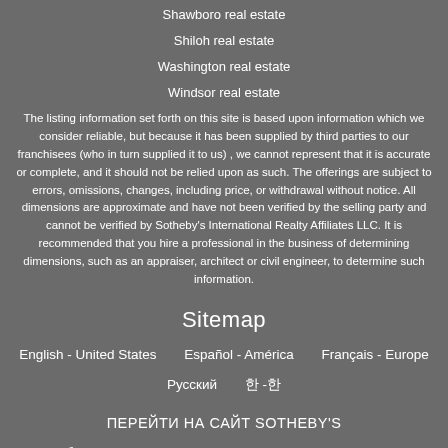Shawboro real estate
Shiloh real estate
Washington real estate
Windsor real estate
The listing information set forth on this site is based upon information which we consider reliable, but because it has been supplied by third parties to our franchisees (who in turn supplied it to us) , we cannot represent that it is accurate or complete, and it should not be relied upon as such. The offerings are subject to errors, omissions, changes, including price, or withdrawal without notice. All dimensions are approximate and have not been verified by the selling party and cannot be verified by Sotheby's International Realty Affiliates LLC. It is recommended that you hire a professional in the business of determining dimensions, such as an appraiser, architect or civil engineer, to determine such information.
Sitemap
English - United States     Español - América     Français - Europe
Русский     한 -한
ПЕРЕЙТИ НА САЙТ SOTHEBY'S
Работает на GTS: Real Estate Websites | Real Estate CRM